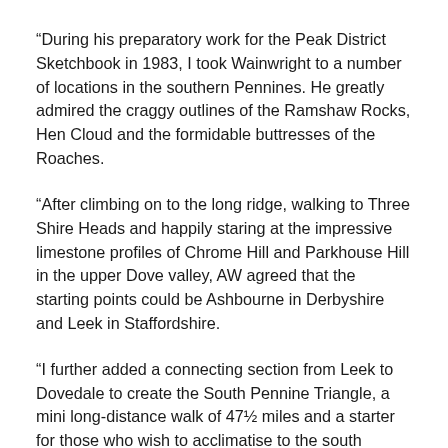“During his preparatory work for the Peak District Sketchbook in 1983, I took Wainwright to a number of locations in the southern Pennines. He greatly admired the craggy outlines of the Ramshaw Rocks, Hen Cloud and the formidable buttresses of the Roaches.
“After climbing on to the long ridge, walking to Three Shire Heads and happily staring at the impressive limestone profiles of Chrome Hill and Parkhouse Hill in the upper Dove valley, AW agreed that the starting points could be Ashbourne in Derbyshire and Leek in Staffordshire.
“I further added a connecting section from Leek to Dovedale to create the South Pennine Triangle, a mini long-distance walk of 47½ miles and a starter for those who wish to acclimatise to the south Pennines before attempting the whole hog! Thus, A Pennine Odyssey was born.”